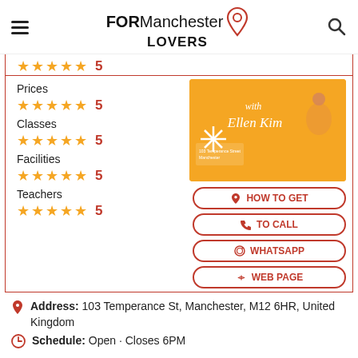FOR Manchester LOVERS
[Figure (photo): Studio promotional card with orange background, woman posing, text 'with Ellen Kim']
Prices ★★★★★ 5
Classes ★★★★★ 5
Facilities ★★★★★ 5
Teachers ★★★★★ 5
HOW TO GET
TO CALL
WHATSAPP
WEB PAGE
Address: 103 Temperance St, Manchester, M12 6HR, United Kingdom
Schedule: Open · Closes 6PM